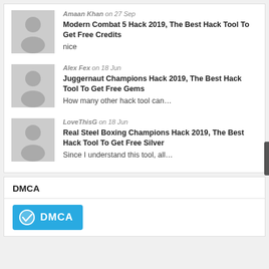Amaan Khan on 27 Sep
Modern Combat 5 Hack 2019, The Best Hack Tool To Get Free Credits
nice
Alex Fex on 18 Jun
Juggernaut Champions Hack 2019, The Best Hack Tool To Get Free Gems
How many other hack tool can…
LoveThisG on 18 Jun
Real Steel Boxing Champions Hack 2019, The Best Hack Tool To Get Free Silver
Since I understand this tool, all…
DMCA
[Figure (logo): DMCA badge/logo in blue with checkmark icon and 'DMCA' text in white]